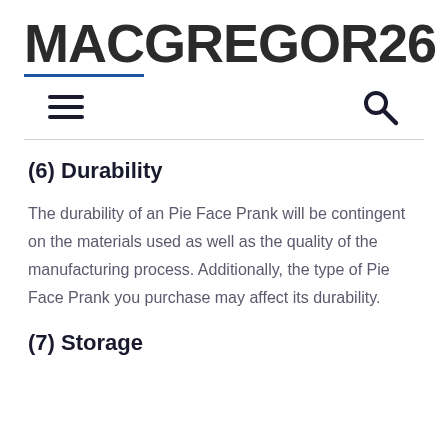MACGREGOR26
(6) Durability
The durability of an Pie Face Prank will be contingent on the materials used as well as the quality of the manufacturing process. Additionally, the type of Pie Face Prank you purchase may affect its durability.
(7) Storage